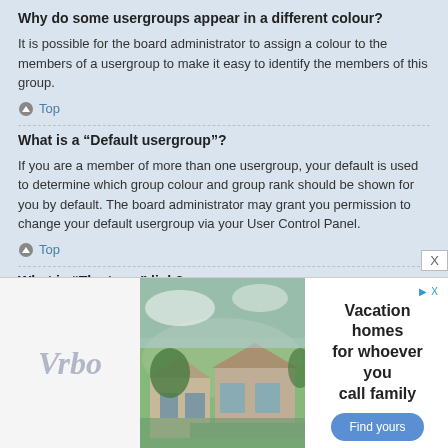Why do some usergroups appear in a different colour?
It is possible for the board administrator to assign a colour to the members of a usergroup to make it easy to identify the members of this group.
Top
What is a “Default usergroup”?
If you are a member of more than one usergroup, your default is used to determine which group colour and group rank should be shown for you by default. The board administrator may grant you permission to change your default usergroup via your User Control Panel.
Top
What is “The team” link?
This page provides you with a list of board staff, including board administrators and moderators and other details such as the forums they moderate.
Top
[Figure (other): Advertisement for Vrbo vacation home rentals showing a mountain house photo and text 'Vacation homes for whoever you call family' with a 'Find yours' button.]